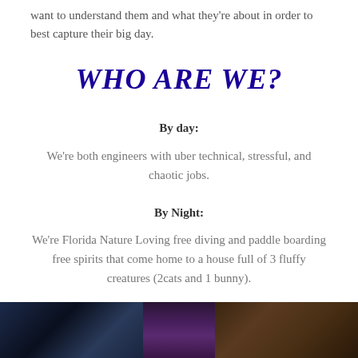want to understand them and what they're about in order to best capture their big day.
WHO ARE WE?
By day:
We're both engineers with uber technical, stressful, and chaotic jobs.
By Night:
We're Florida Nature Loving free diving and paddle boarding free spirits that come home to a house full of 3 fluffy creatures (2cats and 1 bunny).
[Figure (photo): Three side-by-side photos at the bottom of the page, partially visible. Left photo appears dark blue/navy, center photo shows a purple-toned image, right photo shows a warm brown-toned image.]